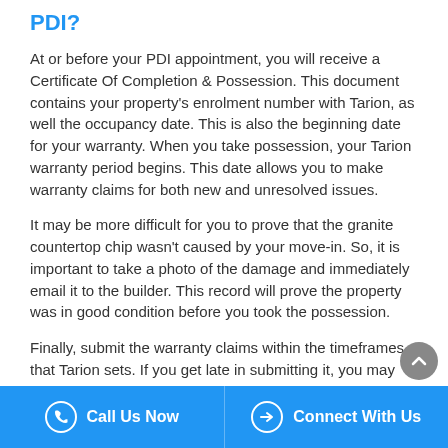PDI?
At or before your PDI appointment, you will receive a Certificate Of Completion & Possession. This document contains your property's enrolment number with Tarion, as well the occupancy date. This is also the beginning date for your warranty. When you take possession, your Tarion warranty period begins. This date allows you to make warranty claims for both new and unresolved issues.
It may be more difficult for you to prove that the granite countertop chip wasn't caused by your move-in. So, it is important to take a photo of the damage and immediately email it to the builder. This record will prove the property was in good condition before you took the possession.
Finally, submit the warranty claims within the timeframes that Tarion sets. If you get late in submitting it, you may not
Call Us Now   Connect With Us